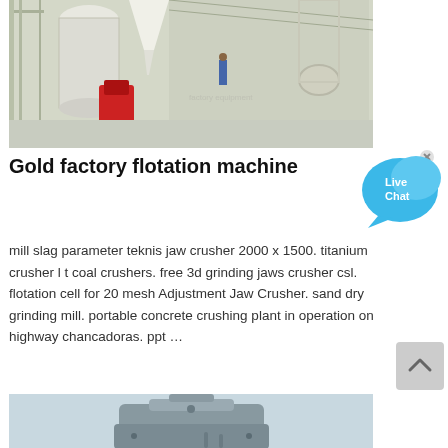[Figure (photo): Industrial factory interior showing flotation machine equipment, large white cylindrical structures, pipes, a red machine component, metal scaffolding, and a large warehouse-style building interior with concrete floor.]
Gold factory flotation machine
[Figure (other): Live Chat widget — blue speech bubble with 'Live Chat' text and an X close button.]
mill slag parameter teknis jaw crusher 2000 x 1500. titanium crusher l t coal crushers. free 3d grinding jaws crusher csl. flotation cell for 20 mesh Adjustment Jaw Crusher. sand dry grinding mill. portable concrete crushing plant in operation on highway chancadoras. ppt …
[Figure (photo): Bottom portion of a machine part — appears to be a grey mechanical turret or grinding mill head against a light blue background.]